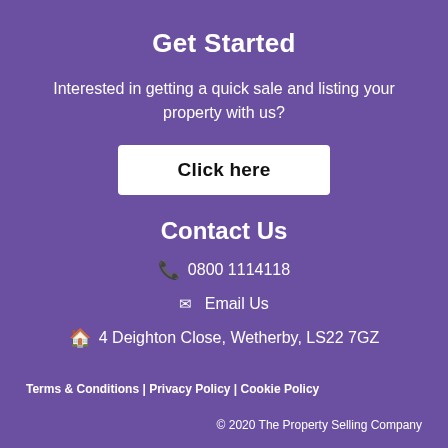Get Started
Interested in getting a quick sale and listing your property with us?
Click here
Contact Us
📞 0800 1114118
✉ Email Us
🏠 4 Deighton Close, Wetherby, LS22 7GZ
Terms & Conditions | Privacy Policy | Cookie Policy
© 2020 The Property Selling Company